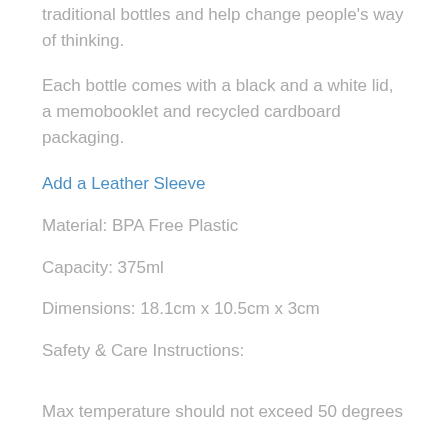traditional bottles and help change people's way of thinking.
Each bottle comes with a black and a white lid, a memobooklet and recycled cardboard packaging.
Add a Leather Sleeve
Material: BPA Free Plastic
Capacity: 375ml
Dimensions: 18.1cm x 10.5cm x 3cm
Safety & Care Instructions:
Max temperature should not exceed 50 degrees